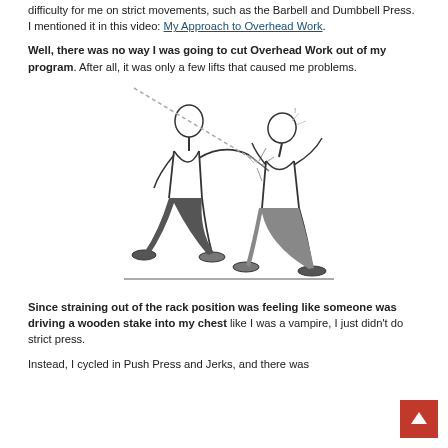difficulty for me on strict movements, such as the Barbell and Dumbbell Press. I mentioned it in this video: My Approach to Overhead Work.
Well, there was no way I was going to cut Overhead Work out of my program. After all, it was only a few lifts that caused me problems.
[Figure (illustration): Black and white illustration of two figures fighting — one person driving a fist or stake into the chest of another person who is recoiling.]
Since straining out of the rack position was feeling like someone was driving a wooden stake into my chest like I was a vampire, I just didn't do strict press.
Instead, I cycled in Push Press and Jerks, and there was